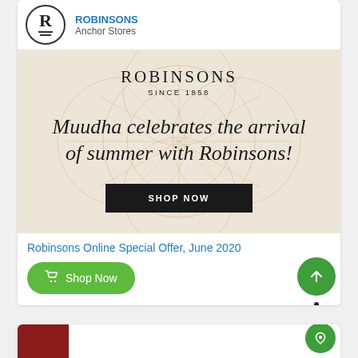[Figure (logo): Robinsons store logo circle with R letter and two lines]
ROBINSONS
Anchor Stores
[Figure (illustration): Robinsons promotional banner with geometric pattern background, text: ROBINSONS SINCE 1858, Muudha celebrates the arrival of summer with Robinsons!, and SHOP NOW button]
Robinsons Online Special Offer, June 2020
Shop Now